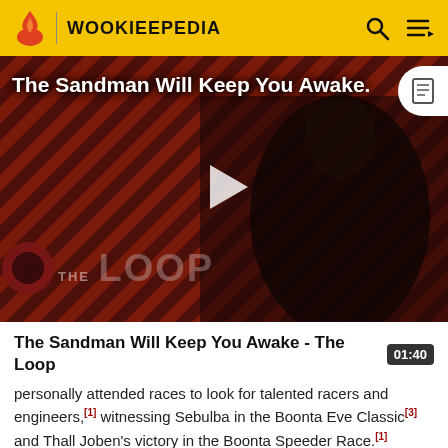WOOKIEEPEDIA
[Figure (screenshot): Video thumbnail for 'The Sandman Will Keep You Awake - The Loop' showing a dark-cloaked figure against a red diagonal-striped background with a play button overlay and 'THE LOOP' text watermark]
The Sandman Will Keep You Awake - The Loop
personally attended races to look for talented racers and engineers,[1] witnessing Sebulba in the Boonta Eve Classic[3] and Thall Joben's victory in the Boonta Speeder Race.[1] However, Dak had an almost paranoid disliking of